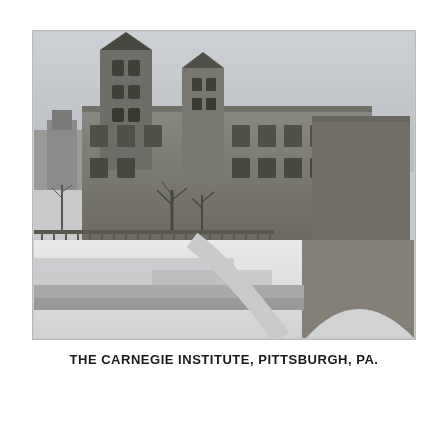[Figure (photo): Black and white historical photograph of the Carnegie Institute building in Pittsburgh, PA. The large brick building features two prominent towers with pyramidal roofs, multiple stories with arched windows, and snow on the ground in the foreground. A stone arch bridge is visible in the lower right. Bare trees line the front of the building.]
THE CARNEGIE INSTITUTE, PITTSBURGH, PA.